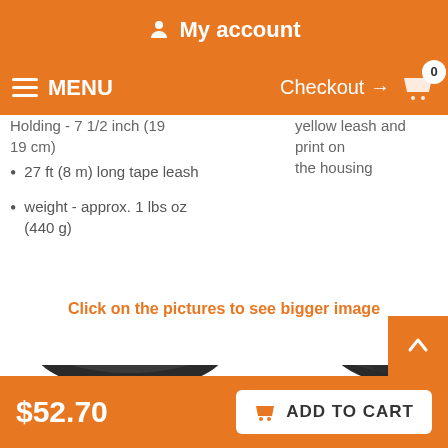My account
MENU  Checkout → 0
Holding - 7 1/2 inch (19 19 cm)
yellow leash and print on the housing
27 ft (8 m) long tape leash
weight - approx. 1 lbs oz (440 g)
Click on the pictures to see bigger image
[Figure (photo): Product photo showing dark gray retractable dog leash housing with yellow branding label]
$52.70   ADD TO CART